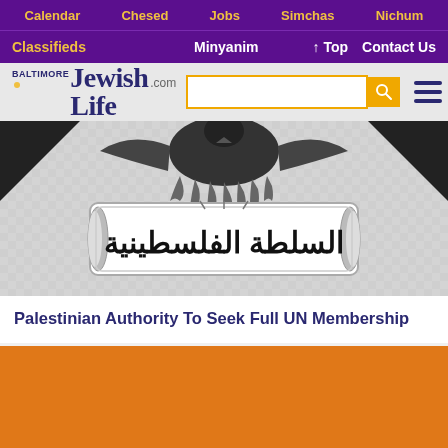Calendar  Chesed  Jobs  Simchas  Nichum
Classifieds  Minyanim  ↑ Top  Contact Us
[Figure (logo): Baltimore Jewish Life .com logo with search bar and hamburger menu]
[Figure (illustration): Palestinian Authority emblem showing Arabic text السلطة الفلسطينية (Palestinian Authority) on a decorative banner with an eagle above]
Palestinian Authority To Seek Full UN Membership
[Figure (other): Orange advertisement block]